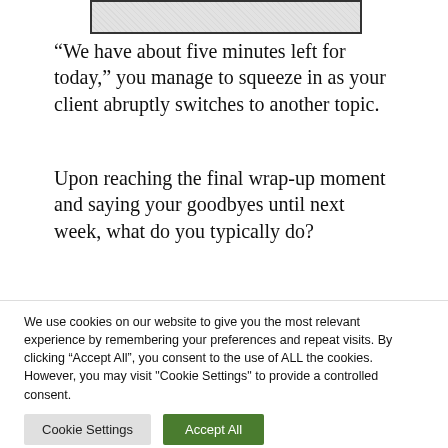[Figure (photo): Partially visible image at the top of the page, showing a textured or handwritten content, cropped at the top edge]
“We have about five minutes left for today,” you manage to squeeze in as your client abruptly switches to another topic.
Upon reaching the final wrap-up moment and saying your goodbyes until next week, what do you typically do?
Are you poised to write your progress note
We use cookies on our website to give you the most relevant experience by remembering your preferences and repeat visits. By clicking “Accept All”, you consent to the use of ALL the cookies. However, you may visit "Cookie Settings" to provide a controlled consent.